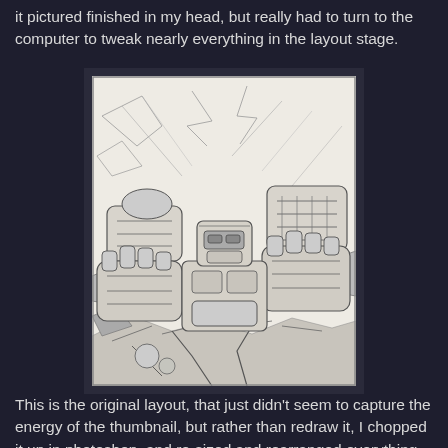it pictured finished in my head, but really had to turn to the computer to tweak nearly everything in the layout stage.
[Figure (illustration): Pencil sketch of a robot/mech character (resembling Transformers) viewed from a low angle, with large mechanical arms/fists raised, breaking through a rocky surface. The drawing is detailed linework in pencil on white paper, framed with a dark border.]
This is the original layout, that just didn't seem to capture the energy of the thumbnail, but rather than redraw it, I chopped it up in photoshop, and re-sized and rearranged everything